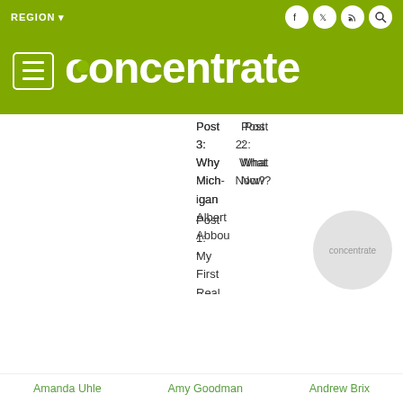REGION
[Figure (logo): Concentrate website logo with hamburger menu icon on olive green background]
Post 3: Why Michigan
Post 2: What Now?
Albert Abbou -
Post 1: My First Real Lesson In Life
[Figure (logo): Concentrate watermark circle logo]
Amanda Uhle   Amy Goodman   Andrew Brix